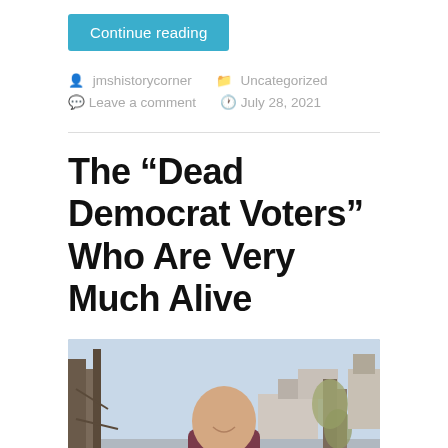Continue reading
jmshistorycorner   Uncategorized
Leave a comment   July 28, 2021
The “Dead Democrat Voters” Who Are Very Much Alive
[Figure (photo): A bald middle-aged man smiling outdoors, wearing a maroon t-shirt and holding a blue object, with bare trees and a house visible in the background.]